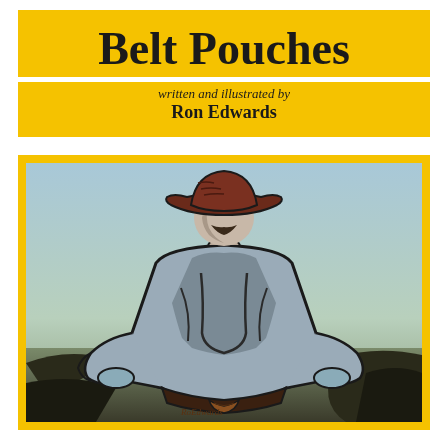Belt Pouches
written and illustrated by
Ron Edwards
[Figure (illustration): Illustration of a man from behind wearing a dark brown cowboy hat, a grey shirt, with hands on hips, set against a light blue-grey gradient background. The figure is rendered in a bold graphic/woodcut style with dark outlines and flat colors. At the bottom waist area a decorative belt pouch is visible.]